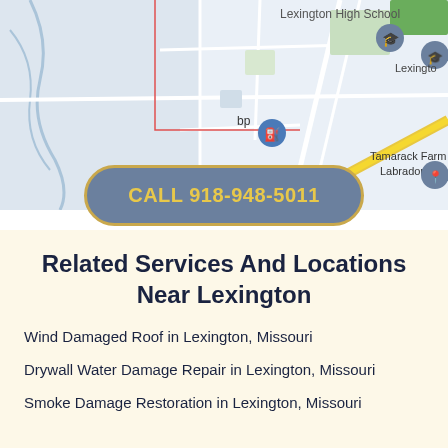[Figure (map): Google Maps screenshot showing Lexington area with markers for Lexington High School, bp gas station, Tamarack Farm Labradors, and other Lexington locations]
CALL 918-948-5011
Related Services And Locations Near Lexington
Wind Damaged Roof in Lexington, Missouri
Drywall Water Damage Repair in Lexington, Missouri
Smoke Damage Restoration in Lexington, Missouri